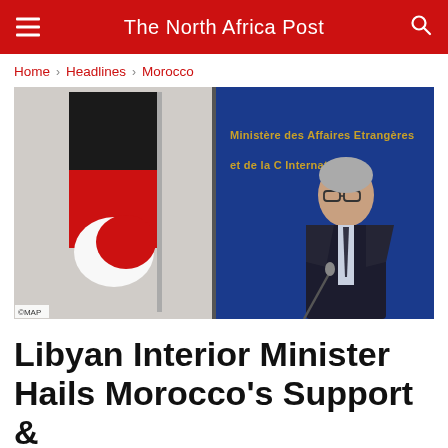The North Africa Post
Home > Headlines > Morocco
[Figure (photo): Libyan Interior Minister standing at a podium with a microphone, in front of a blue banner reading 'Ministère des Affaires Etrangères et de la Coopération Internationale', with the Libyan flag visible on the left side.]
Libyan Interior Minister Hails Morocco's Support &